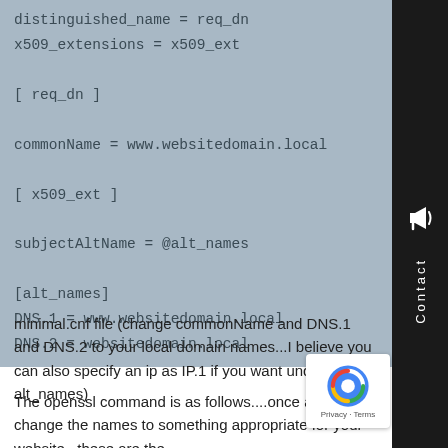distinguished_name = req_dn
x509_extensions = x509_ext

[ req_dn ]

commonName = www.websitedomain.local

[ x509_ext ]

subjectAltName = @alt_names

[alt_names]
DNS.1 = www.websitedomain.local
DNS.2 = websitedomain.local
minimal.cnf file (change commonName and DNS.1 and DNS.2 to your local domain names...I believe you can also specify an ip as IP.1 if you want under alt_names)
The openssl command is as follows....once again, change the names to something appropriate for your website...these are the